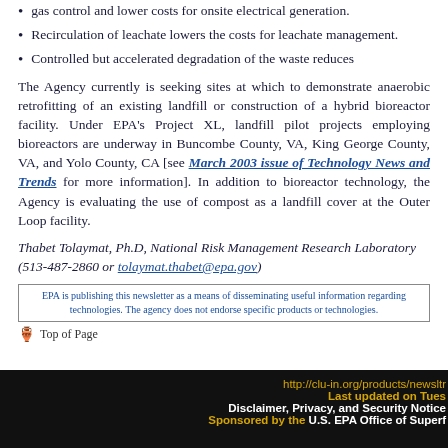gas control and lower costs for onsite electrical generation.
Recirculation of leachate lowers the costs for leachate management.
Controlled but accelerated degradation of the waste reduces
The Agency currently is seeking sites at which to demonstrate anaerobic retrofitting of an existing landfill or construction of a hybrid bioreactor facility. Under EPA's Project XL, landfill pilot projects employing bioreactors are underway in Buncombe County, VA, King George County, VA, and Yolo County, CA [see March 2003 issue of Technology News and Trends for more information]. In addition to bioreactor technology, the Agency is evaluating the use of compost as a landfill cover at the Outer Loop facility.
Thabet Tolaymat, Ph.D, National Risk Management Research Laboratory (513-487-2860 or tolaymat.thabet@epa.gov)
EPA is publishing this newsletter as a means of disseminating useful information regarding technologies. The agency does not endorse specific products or technologies.
Top of Page
http://clu-in.org/products/newsltrs/ Last updated on Tuesday Last updated on Tuesday, Disclaimer, Privacy, and Security Notice Sponsored by the U.S. EPA Office of Superfund